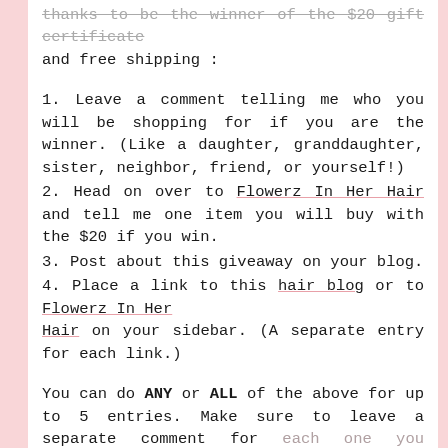thanks to be the winner of the $20 gift certificate and free shipping:
1. Leave a comment telling me who you will be shopping for if you are the winner. (Like a daughter, granddaughter, sister, neighbor, friend, or yourself!)
2. Head on over to Flowerz In Her Hair and tell me one item you will buy with the $20 if you win.
3. Post about this giveaway on your blog.
4. Place a link to this hair blog or to Flowerz In Her Hair on your sidebar. (A separate entry for each link.)
You can do ANY or ALL of the above for up to 5 entries. Make sure to leave a separate comment for each one you complete so that each entry will count for you. I'll be pulling the winner through random.org on Thursday night (9:00.) So don't let